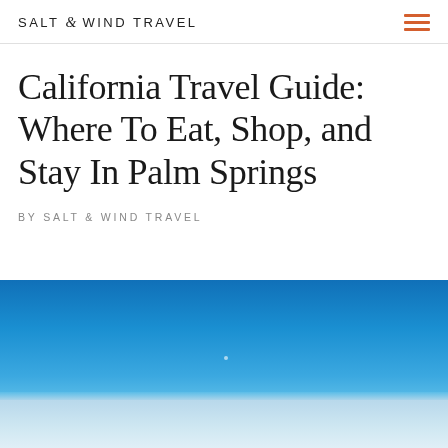SALT & WIND TRAVEL
California Travel Guide: Where To Eat, Shop, and Stay In Palm Springs
BY SALT & WIND TRAVEL
[Figure (photo): Blue sky photograph transitioning into light blue water or pool at the bottom, likely taken in Palm Springs, California.]